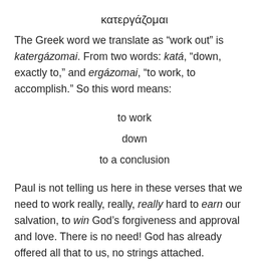κατεργάζομαι
The Greek word we translate as “work out” is katergázomai. From two words: katá, “down, exactly to,” and ergázomai, “to work, to accomplish.” So this word means:
to work
down
to a conclusion
Paul is not telling us here in these verses that we need to work really, really, really hard to earn our salvation, to win God’s forgiveness and approval and love. There is no need! God has already offered all that to us, no strings attached.